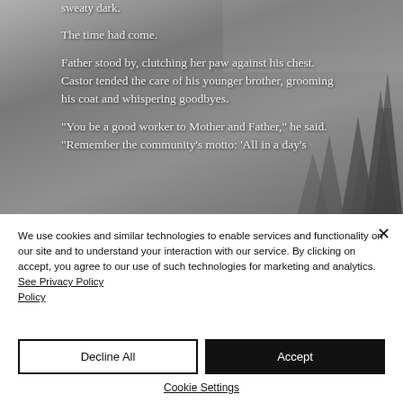[Figure (illustration): Grayscale background image of misty forest with tall pine trees, partially visible book text overlay]
sweaty dark.
The time had come.
Father stood by, clutching her paw against his chest. Castor tended the care of his younger brother, grooming his coat and whispering goodbyes.
“You be a good worker to Mother and Father,” he said. “Remember the community’s motto: ‘All in a day’s work!’
We use cookies and similar technologies to enable services and functionality on our site and to understand your interaction with our service. By clicking on accept, you agree to our use of such technologies for marketing and analytics. See Privacy Policy